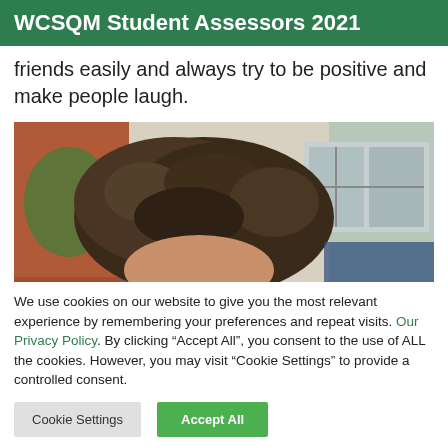WCSQM Student Assessors 2021
friends easily and always try to be positive and make people laugh.
[Figure (photo): A partially visible photo of a person with curly brown hair outdoors, with a brick building and window in the background.]
We use cookies on our website to give you the most relevant experience by remembering your preferences and repeat visits. Our Privacy Policy. By clicking "Accept All", you consent to the use of ALL the cookies. However, you may visit "Cookie Settings" to provide a controlled consent.
Cookie Settings | Accept All